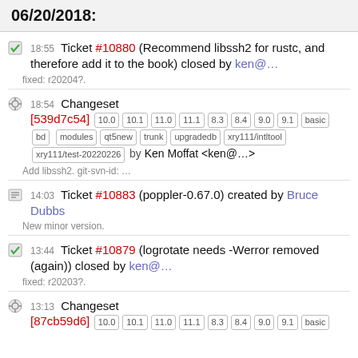06/20/2018:
18:55 Ticket #10880 (Recommend libssh2 for rustc, and therefore add it to the book) closed by ken@…
fixed: r20204?.
18:54 Changeset [539d7c54] 10.0 10.1 11.0 11.1 8.3 8.4 9.0 9.1 basic bd modules qt5new trunk upgradedb xry111/intltool xry111/test-20220226 by Ken Moffat <ken@…>
Add libssh2. git-svn-id: …
14:03 Ticket #10883 (poppler-0.67.0) created by Bruce Dubbs
New minor version.
13:44 Ticket #10879 (logrotate needs -Werror removed (again)) closed by ken@…
fixed: r20203?.
13:13 Changeset [87cb59d6] 10.0 10.1 11.0 11.1 8.3 8.4 9.0 9.1 basic